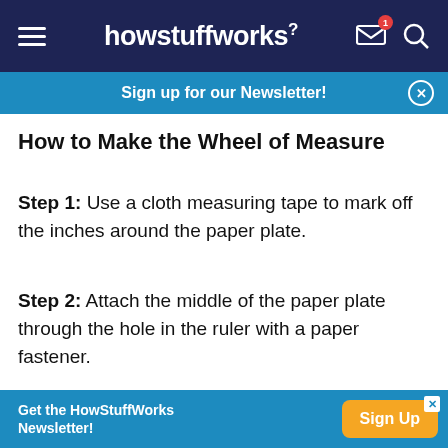howstuffworks
Sign up for our Newsletter!
How to Make the Wheel of Measure
Step 1: Use a cloth measuring tape to mark off the inches around the paper plate.
Step 2: Attach the middle of the paper plate through the hole in the ruler with a paper fastener.
Step 3: Run your measuring wheel along any surface to see how long the surface is in inches. Count how many times the wheel goes around from one end of
Get the HowStuffWorks Newsletter! Sign Up